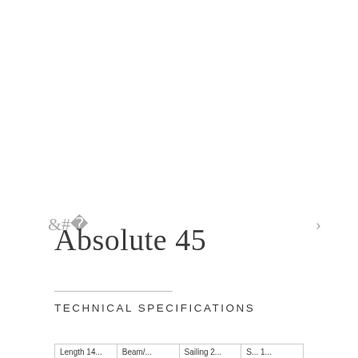[Figure (other): Navigation arrows (left chevron and right chevron) for an image carousel or gallery, shown on either side of a blank image area]
Absolute 45
TECHNICAL SPECIFICATIONS
| Length 14... | Beam/... | Sailing 2... | S... 1... |
| --- | --- | --- | --- |